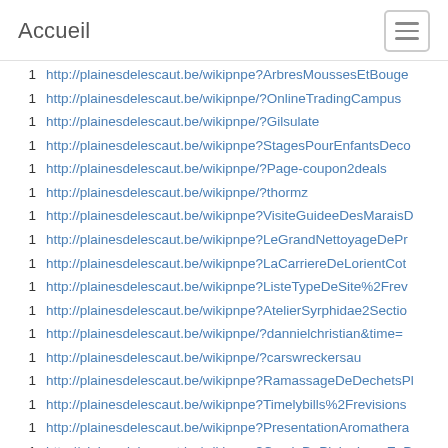Accueil
1  http://plainesdelescaut.be/wikipnpe?ArbresMoussesEtBouge
1  http://plainesdelescaut.be/wikipnpe/?OnlineTradingCampus
1  http://plainesdelescaut.be/wikipnpe/?Gilsulate
1  http://plainesdelescaut.be/wikipnpe?StagesPourEnfantsDeco
1  http://plainesdelescaut.be/wikipnpe/?Page-coupon2deals
1  http://plainesdelescaut.be/wikipnpe/?thormz
1  http://plainesdelescaut.be/wikipnpe?VisiteGuideeDesMaraisD
1  http://plainesdelescaut.be/wikipnpe?LeGrandNettoyageDePr
1  http://plainesdelescaut.be/wikipnpe?LaCarriereDeLorientCot
1  http://plainesdelescaut.be/wikipnpe?ListeTypeDeSite%2Frev
1  http://plainesdelescaut.be/wikipnpe?AtelierSyrphidae2Sectio
1  http://plainesdelescaut.be/wikipnpe/?dannielchristian&time=
1  http://plainesdelescaut.be/wikipnpe/?carswreckersau
1  http://plainesdelescaut.be/wikipnpe?RamassageDeDechetsPl
1  http://plainesdelescaut.be/wikipnpe?Timelybills%2Frevisions
1  http://plainesdelescaut.be/wikipnpe?PresentationAromathera
1  http://plainesdelescaut.be/wikipnpe?CercleDePleineLuneEnP
1  http://www.olig.ru/
1  http://plainesdelescaut.be/wikipnpe?LesMercredisDelaDebro
1  http://plainesdelescaut.be/wikipnpe/?ElMaraishage